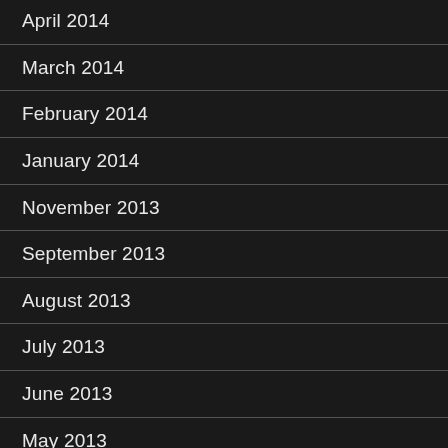April 2014
March 2014
February 2014
January 2014
November 2013
September 2013
August 2013
July 2013
June 2013
May 2013
April 2013
February 2013
January 2013